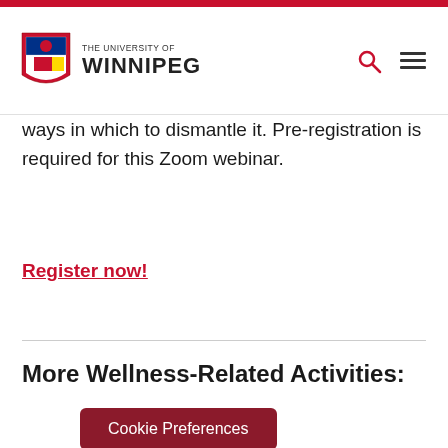The University of Winnipeg
ways in which to dismantle it. Pre-registration is required for this Zoom webinar.
Register now!
More Wellness-Related Activities:
Cookie Preferences